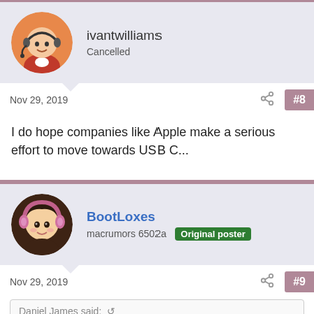[Figure (illustration): Forum post header with avatar of ivantwilliams (customer service person with headset, orange background). Username: ivantwilliams, status: Cancelled.]
Nov 29, 2019   #8
I do hope companies like Apple make a serious effort to move towards USB C...
[Figure (illustration): Forum post header with avatar of BootLoxes (anime-style character with pink headphones). Username: BootLoxes, rank: macrumors 6502a, badge: Original poster.]
Nov 29, 2019   #9
Daniel James said: